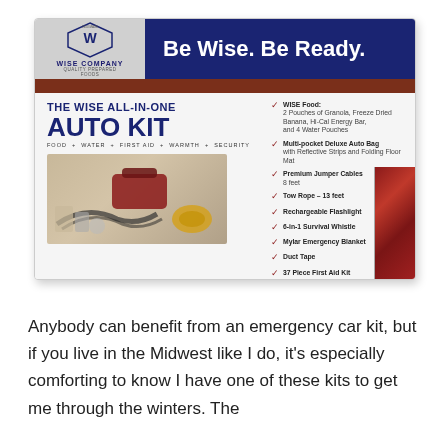[Figure (photo): Product photo of 'The Wise All-In-One Auto Kit' box by Wise Company. Box shows blue banner with 'Be Wise. Be Ready.' slogan, product title, checklist of included items, and photo of kit contents including jumper cables, first aid bag, rope, and other items.]
Anybody can benefit from an emergency car kit, but if you live in the Midwest like I do, it's especially comforting to know I have one of these kits to get me through the winters. The